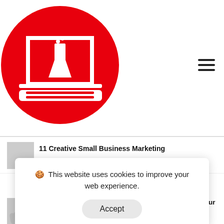[Figure (logo): Red circle logo with white laptop and lab flask icon]
[Figure (other): Hamburger menu icon (three horizontal lines)]
11 Creative Small Business Marketing
🍪 This website uses cookies to improve your web experience.
Accept
5 Reasons Professional Web Design is Critical for Your Business
August 5, 2022